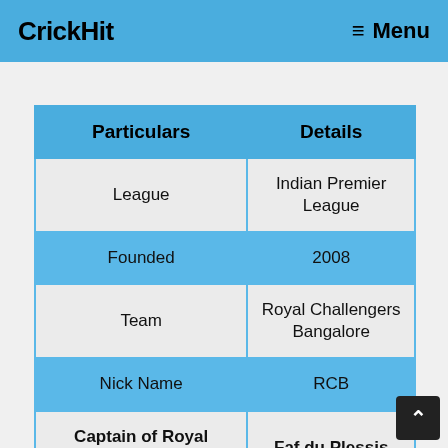CrickHit   ≡ Menu
| Particulars | Details |
| --- | --- |
| League | Indian Premier League |
| Founded | 2008 |
| Team | Royal Challengers Bangalore |
| Nick Name | RCB |
| Captain of Royal Challengers Bangalore | Faf du Plessis |